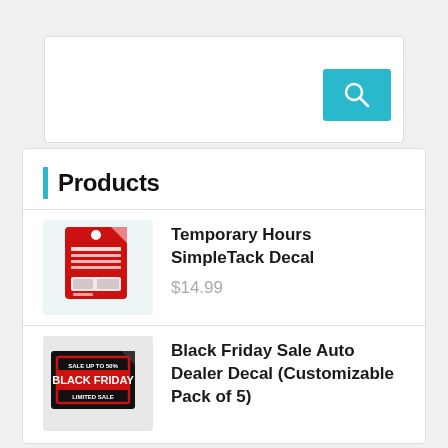[Figure (screenshot): Search box with teal/cyan search button icon on right]
Products
[Figure (photo): Temporary Hours SimpleTack Decal product image - red decal with white text]
Temporary Hours SimpleTack Decal
$14.99
[Figure (photo): Black Friday Sale Auto Dealer Decal product image - black background with red border text]
Black Friday Sale Auto Dealer Decal (Customizable Pack of 5)